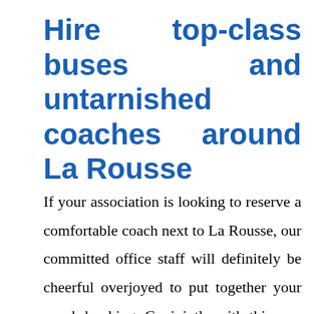Hire top-class buses and untarnished coaches around La Rousse
If your association is looking to reserve a comfortable coach next to La Rousse, our committed office staff will definitely be cheerful overjoyed to put together your coach booking. Conjointly with this, our office is also willing and ready to suggest